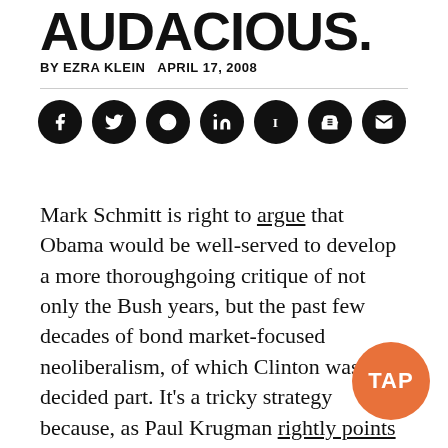AUDACIOUS.
BY EZRA KLEIN   APRIL 17, 2008
[Figure (infographic): Row of seven circular social media sharing icons (Facebook, Twitter, Reddit, LinkedIn, Instapaper, Blogger, Email) on black circles]
Mark Schmitt is right to argue that Obama would be well-served to develop a more thoroughgoing critique of not only the Bush years, but the past few decades of bond market-focused neoliberalism, of which Clinton was a decided part. It's a tricky strategy because, as Paul Krugman rightly points out, Clinton's economic record was quite good. Growth was high and distribution improved. What Clinton failed at was public investment. Health care. Infrastructure.